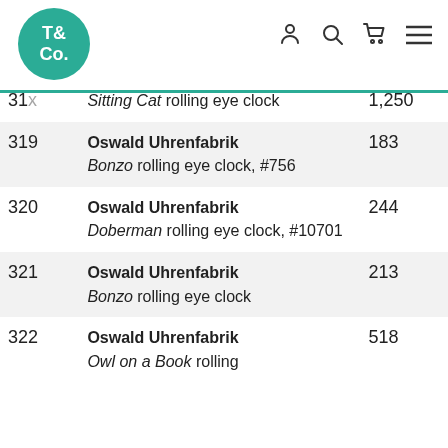T&Co. logo and navigation icons
| Lot | Description | Price |
| --- | --- | --- |
| 31[x] | Oswald Uhrenfabrik Sitting Cat rolling eye clock | 1,250 |
| 319 | Oswald Uhrenfabrik Bonzo rolling eye clock, #756 | 183 |
| 320 | Oswald Uhrenfabrik Doberman rolling eye clock, #10701 | 244 |
| 321 | Oswald Uhrenfabrik Bonzo rolling eye clock | 213 |
| 322 | Oswald Uhrenfabrik Owl on a Book rolling | 518 |